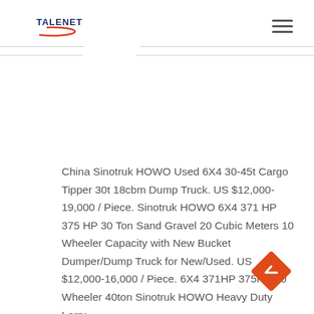TALENET
China Sinotruk HOWO Used 6X4 30-45t Cargo Tipper 30t 18cbm Dump Truck. US $12,000-19,000 / Piece. Sinotruk HOWO 6X4 371 HP 375 HP 30 Ton Sand Gravel 20 Cubic Meters 10 Wheeler Capacity with New Bucket Dumper/Dump Truck for New/Used. US $12,000-16,000 / Piece. 6X4 371HP 375HP 10 Wheeler 40ton Sinotruk HOWO Heavy Duty Lorry